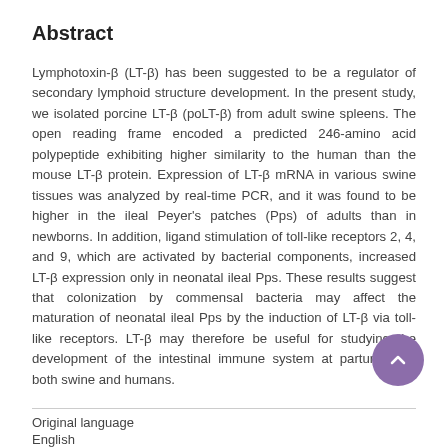Abstract
Lymphotoxin-β (LT-β) has been suggested to be a regulator of secondary lymphoid structure development. In the present study, we isolated porcine LT-β (poLT-β) from adult swine spleens. The open reading frame encoded a predicted 246-amino acid polypeptide exhibiting higher similarity to the human than the mouse LT-β protein. Expression of LT-β mRNA in various swine tissues was analyzed by real-time PCR, and it was found to be higher in the ileal Peyer's patches (Pps) of adults than in newborns. In addition, ligand stimulation of toll-like receptors 2, 4, and 9, which are activated by bacterial components, increased LT-β expression only in neonatal ileal Pps. These results suggest that colonization by commensal bacteria may affect the maturation of neonatal ileal Pps by the induction of LT-β via toll-like receptors. LT-β may therefore be useful for studying the development of the intestinal immune system at parturition in both swine and humans.
Original language
English